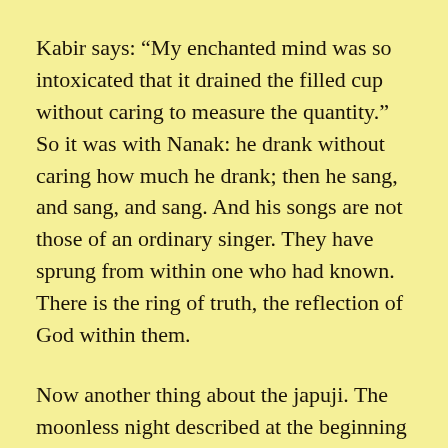Kabir says: “My enchanted mind was so intoxicated that it drained the filled cup without caring to measure the quantity.” So it was with Nanak: he drank without caring how much he drank; then he sang, and sang, and sang. And his songs are not those of an ordinary singer. They have sprung from within one who had known. There is the ring of truth, the reflection of God within them.
Now another thing about the japuji. The moonless night described at the beginning was an incident from Nanak’s life when he was about sixteen or seventeen years of age. When the Japuji was conceived, Nanak was thirty